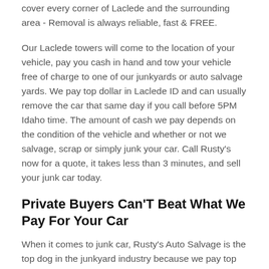cover every corner of Laclede and the surrounding area - Removal is always reliable, fast & FREE.
Our Laclede towers will come to the location of your vehicle, pay you cash in hand and tow your vehicle free of charge to one of our junkyards or auto salvage yards. We pay top dollar in Laclede ID and can usually remove the car that same day if you call before 5PM Idaho time. The amount of cash we pay depends on the condition of the vehicle and whether or not we salvage, scrap or simply junk your car. Call Rusty's now for a quote, it takes less than 3 minutes, and sell your junk car today.
Private Buyers Can'T Beat What We Pay For Your Car
When it comes to junk car, Rusty's Auto Salvage is the top dog in the junkyard industry because we pay top dollar prices. If you have received low bids from private bidders and other junkyards, it's time for you to walk away with your dignity in tact and the keys to your junk car. Let Rusty's have the opportunity to make you a believer. We